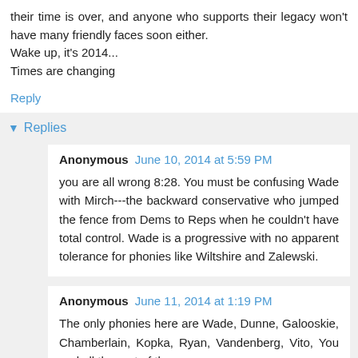their time is over, and anyone who supports their legacy won't have many friendly faces soon either.
Wake up, it's 2014...
Times are changing
Reply
▼ Replies
Anonymous  June 10, 2014 at 5:59 PM
you are all wrong 8:28. You must be confusing Wade with Mirch---the backward conservative who jumped the fence from Dems to Reps when he couldn't have total control. Wade is a progressive with no apparent tolerance for phonies like Wiltshire and Zalewski.
Anonymous  June 11, 2014 at 1:19 PM
The only phonies here are Wade, Dunne, Galooskie, Chamberlain, Kopka, Ryan, Vandenberg, Vito, You and all the rest of the no